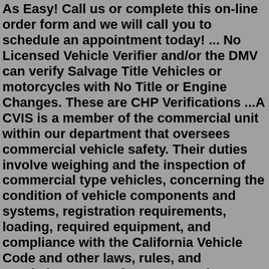As Easy! Call us or complete this on-line order form and we will call you to schedule an appointment today! ... No Licensed Vehicle Verifier and/or the DMV can verify Salvage Title Vehicles or motorcycles with No Title or Engine Changes. These are CHP Verifications ...A CVIS is a member of the commercial unit within our department that oversees commercial vehicle safety. Their duties involve weighing and the inspection of commercial type vehicles, concerning the condition of vehicle components and systems, registration requirements, loading, required equipment, and compliance with the California Vehicle Code and other laws, rules, and regulations governing ... A CVIS is a member of the commercial unit within our department that oversees commercial vehicle safety. Their duties involve weighing and the inspection of commercial type vehicles, concerning the condition of vehicle components and systems, registration requirements, loading, required equipment, and compliance with the California Vehicle Code and other laws, rules, and regulations